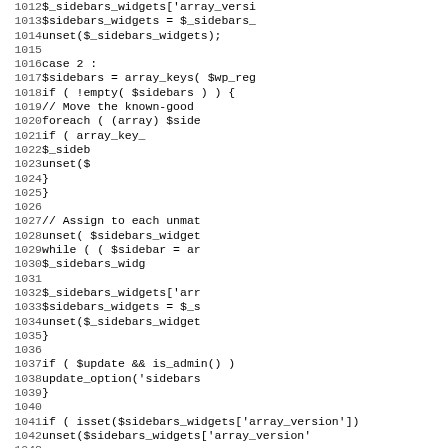Code listing lines 1012-1043 showing PHP sidebar widget management code